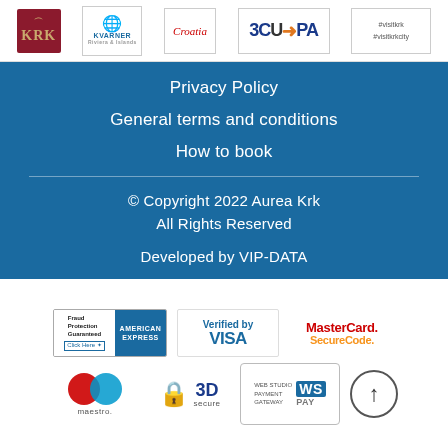[Figure (logo): Row of sponsor/partner logos: KRK (red), Kvarner, Croatia, 3CUHPA, #visitkrk #visitkrkcity]
Privacy Policy
General terms and conditions
How to book
© Copyright 2022 Aurea Krk
All Rights Reserved
Developed by VIP-DATA
[Figure (logo): Payment security badges: American Express Fraud Protection, Verified by VISA, MasterCard SecureCode, Maestro, 3D Secure, WS PAY Web Studio Payment Gateway, scroll-to-top button]